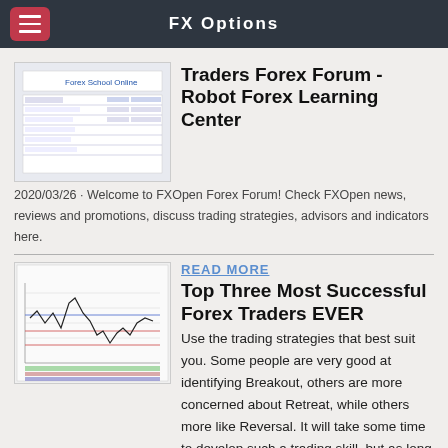FX Options
[Figure (screenshot): Thumbnail of Forex School Online website with a table/chart]
Traders Forex Forum - Robot Forex Learning Center
2020/03/26 · Welcome to FXOpen Forex Forum! Check FXOpen news, reviews and promotions, discuss trading strategies, advisors and indicators here.
READ MORE
[Figure (screenshot): Thumbnail of a forex chart with candlesticks and lines]
Top Three Most Successful Forex Traders EVER
Use the trading strategies that best suit you. Some people are very good at identifying Breakout, others are more concerned about Retreat, while others more like Reversal. It will take some time to develop such a trading skill, but as long as you spend enough time, it will be achieved naturally